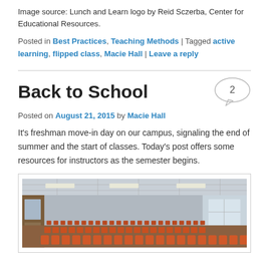Image source: Lunch and Learn logo by Reid Sczerba, Center for Educational Resources.
Posted in Best Practices, Teaching Methods | Tagged active learning, flipped class, Macie Hall | Leave a reply
Back to School
[Figure (other): Comment bubble with number 2]
Posted on August 21, 2015 by Macie Hall
It’s freshman move-in day on our campus, signaling the end of summer and the start of classes. Today’s post offers some resources for instructors as the semester begins.
[Figure (photo): Photograph of an empty lecture hall with rows of orange seats and large windows on the left side.]